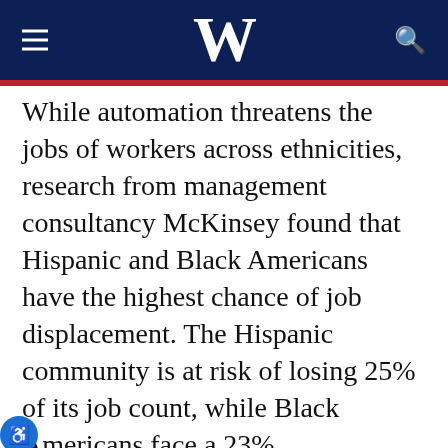W
While automation threatens the jobs of workers across ethnicities, research from management consultancy McKinsey found that Hispanic and Black Americans have the highest chance of job displacement. The Hispanic community is at risk of losing 25% of its job count, while Black Americans face a 23% displacement rate, McKinsey said. That compares to 22% for Asian and White workers each.